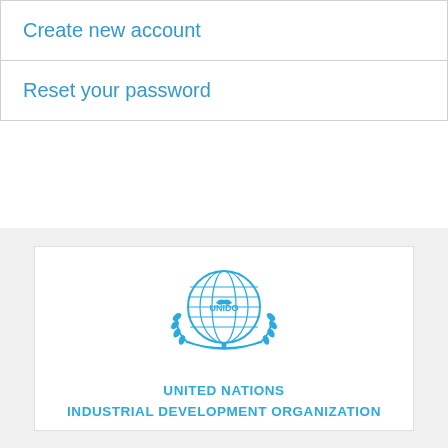Create new account
Reset your password
[Figure (logo): UNIDO circular emblem logo in blue, showing a globe with wheat stalks and a small gear/industry symbol, with the text UNIDO in the center]
UNITED NATIONS
INDUSTRIAL DEVELOPMENT ORGANIZATION